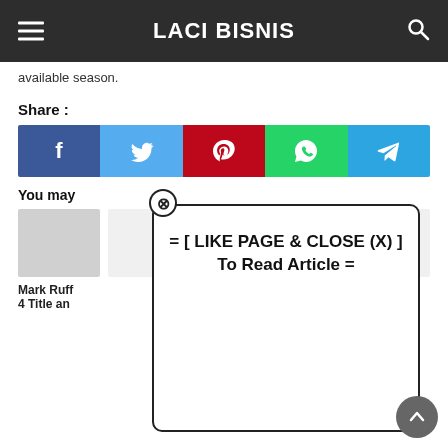LACI BISNIS
available season.
Share :
[Figure (infographic): Social share buttons row: Facebook (blue), Twitter (light blue), Pinterest (red), WhatsApp (green), Telegram (blue)]
[Figure (infographic): Modal popup with close (X) button and text: = [ LIKE PAGE & CLOSE (X) ] To Read Article =]
You may
[Figure (photo): Grey placeholder image card]
Mark Ruff... er- 4 Title an